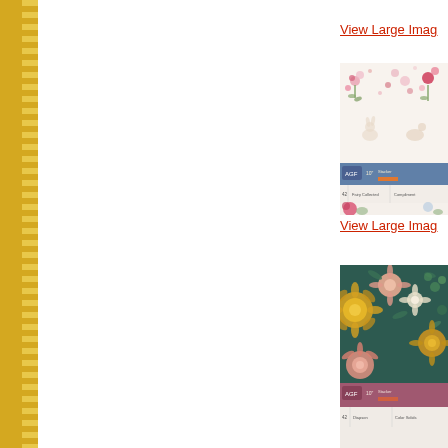View Large Image
[Figure (photo): Floral fabric pack product image with pink and cream floral patterns, AGF branding and a blue label strip showing product details]
View Large Image
[Figure (photo): Dark teal floral fabric pack product image with gold and pink flowers, AGF branding and a pink/mauve label strip showing product details]